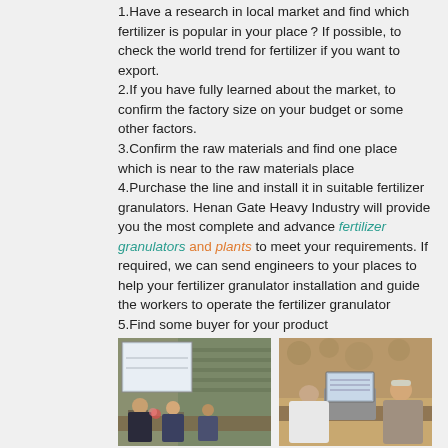1.Have a research in local market and find which fertilizer is popular in your place ? If possible, to check the world trend for fertilizer if you want to export.
2.If you have fully learned about the market, to confirm the factory size on your budget or some other factors.
3.Confirm the raw materials and find one place which is near to the raw materials place
4.Purchase the line and install it in suitable fertilizer granulators. Henan Gate Heavy Industry will provide you the most complete and advance fertilizer granulators and plants to meet your requirements. If required, we can send engineers to your places to help your fertilizer granulator installation and guide the workers to operate the fertilizer granulator
5.Find some buyer for your product
[Figure (photo): Two photos side by side showing business meetings: left photo shows people sitting at a conference table with a presentation screen in the background; right photo shows two people looking at a laptop together.]